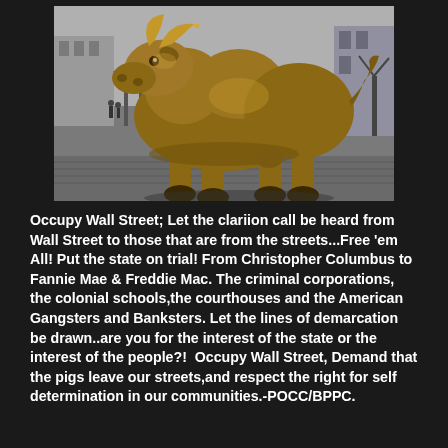[Figure (photo): Black and white photo of the Charging Bull bronze sculpture on Wall Street, New York City. The golden-bronze bull statue is shown from a low angle, facing forward with horns raised.]
Occupy Wall Street; Let the clariion call be heard from Wall Street to those that are from the streets...Free 'em All! Put the state on trial! From Christopher Columbus to Fannie Mae & Freddie Mac. The criminal corporations, the colonial schools,the courthouses and the American Gangsters and Banksters. Let the lines of demarcation be drawn..are you for the interest of the state or the interest of the people?!  Occupy Wall Street, Demand that the pigs leave our streets,and respect the right for self determination in our communities.-POCC/BPPC.